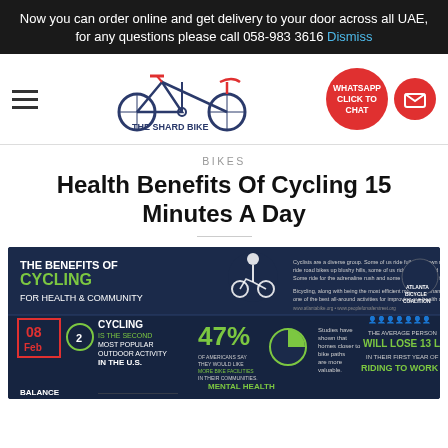Now you can order online and get delivery to your door across all UAE, for any questions please call 058-983 3616 Dismiss
[Figure (screenshot): The Shard Bike website navigation bar with hamburger menu, bicycle logo, WHATSAPP CLICK TO CHAT button, and cart icon]
BIKES
Health Benefits Of Cycling 15 Minutes A Day
[Figure (infographic): Infographic titled 'THE BENEFITS OF CYCLING FOR HEALTH & COMMUNITY' by Atlanta Bicycle Coalition. Shows: Cycling is the second most popular outdoor activity in the U.S. 47% of Americans say they would like more bike facilities in their communities. Studies have shown that homes closer to bike paths are more valuable. The average person will lose 13 lbs in their first year of riding to work. Balance and Mental Health sections at bottom.]